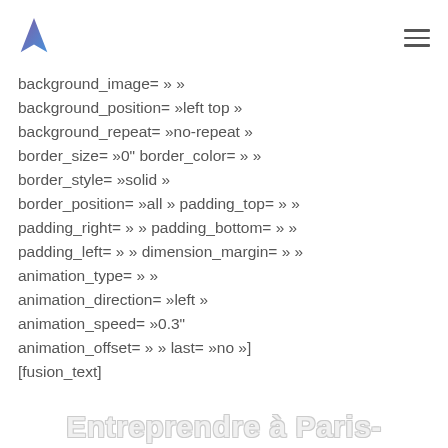[logo] [menu]
background_image= » »
background_position= »left top »
background_repeat= »no-repeat »
border_size= »0" border_color= » »
border_style= »solid »
border_position= »all » padding_top= » »
padding_right= » » padding_bottom= » »
padding_left= » » dimension_margin= » »
animation_type= » »
animation_direction= »left »
animation_speed= »0.3"
animation_offset= » » last= »no »]
[fusion_text]
Entreprendre à Paris-